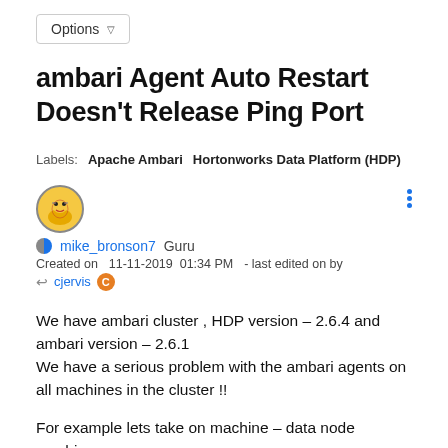Options
ambari Agent Auto Restart Doesn't Release Ping Port
Labels:   Apache Ambari   Hortonworks Data Platform (HDP)
mike_bronson7   Guru
Created on   11-11-2019  01:34 PM  - last edited on by
   cjervis
We have ambari cluster , HDP version – 2.6.4 and ambari version – 2.6.1
We have a serious problem with the ambari agents on all machines in the cluster !!

For example lets take on machine – data node machine

On this machine we loose the heartbeat many times ( its mean